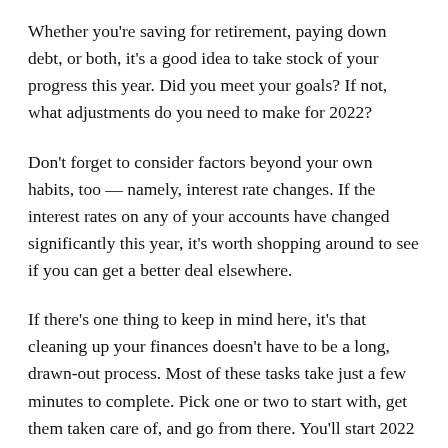Whether you're saving for retirement, paying down debt, or both, it's a good idea to take stock of your progress this year. Did you meet your goals? If not, what adjustments do you need to make for 2022?
Don't forget to consider factors beyond your own habits, too — namely, interest rate changes. If the interest rates on any of your accounts have changed significantly this year, it's worth shopping around to see if you can get a better deal elsewhere.
If there's one thing to keep in mind here, it's that cleaning up your finances doesn't have to be a long, drawn-out process. Most of these tasks take just a few minutes to complete. Pick one or two to start with, get them taken care of, and go from there. You'll start 2022 in a much better place.
More From Lifehacker Australia